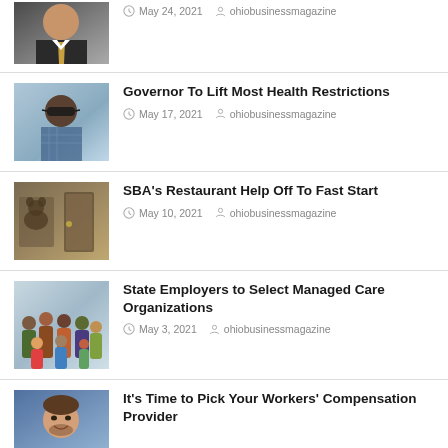[Figure (photo): Man in suit with tie, headshot, partial view at top]
May 24, 2021   ohiobusinessmagazine
[Figure (photo): Person wearing sunglasses outdoors]
Governor To Lift Most Health Restrictions
May 17, 2021   ohiobusinessmagazine
[Figure (photo): Restaurant interior or related image]
SBA's Restaurant Help Off To Fast Start
May 10, 2021   ohiobusinessmagazine
[Figure (photo): Group of diverse people standing together]
State Employers to Select Managed Care Organizations
May 3, 2021   ohiobusinessmagazine
[Figure (photo): Man smiling, headshot outdoors with building background]
It's Time to Pick Your Workers' Compensation Provider